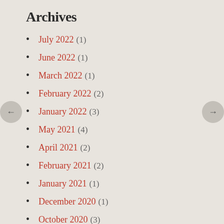Archives
July 2022 (1)
June 2022 (1)
March 2022 (1)
February 2022 (2)
January 2022 (3)
May 2021 (4)
April 2021 (2)
February 2021 (2)
January 2021 (1)
December 2020 (1)
October 2020 (3)
September 2020 (3)
August 2020 (5)
July 2020 (4)
June 2020 (3)
May 2020 (1)